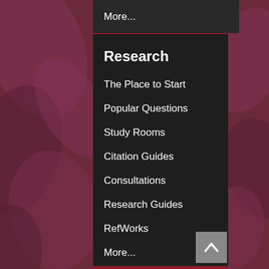More...
Research
The Place to Start
Popular Questions
Study Rooms
Citation Guides
Consultations
Research Guides
RefWorks
More...